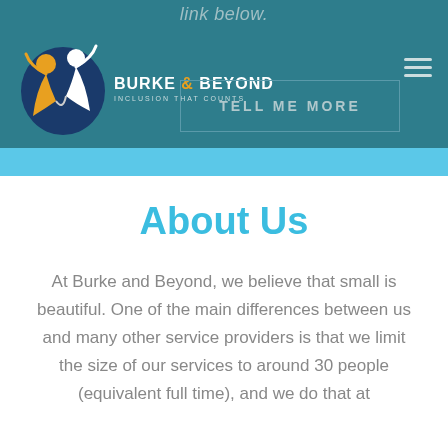link below.
[Figure (logo): Burke & Beyond logo with two stylized figures and tagline 'Inclusion That Counts']
TELL ME MORE
About Us
At Burke and Beyond, we believe that small is beautiful. One of the main differences between us and many other service providers is that we limit the size of our services to around 30 people (equivalent full time), and we do that at